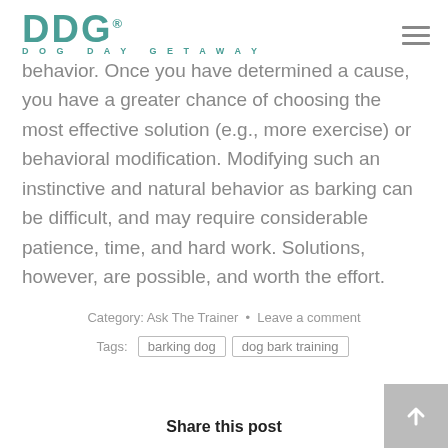DDG® DOG DAY GETAWAY
behavior. Once you have determined a cause, you have a greater chance of choosing the most effective solution (e.g., more exercise) or behavioral modification. Modifying such an instinctive and natural behavior as barking can be difficult, and may require considerable patience, time, and hard work. Solutions, however, are possible, and worth the effort.
Category: Ask The Trainer • Leave a comment
Tags: barking dog  dog bark training
Share this post